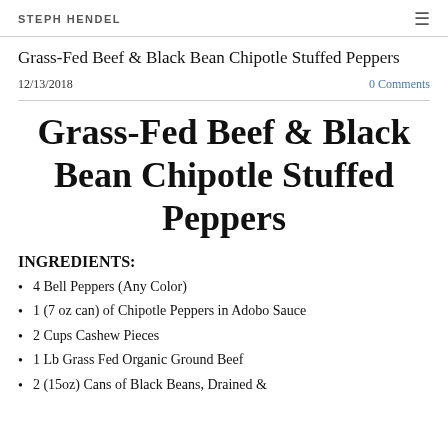STEPH HENDEL
Grass-Fed Beef & Black Bean Chipotle Stuffed Peppers
12/13/2018
0 Comments
Grass-Fed Beef & Black Bean Chipotle Stuffed Peppers
INGREDIENTS:
4 Bell Peppers (Any Color)
1 (7 oz can) of Chipotle Peppers in Adobo Sauce
2 Cups Cashew Pieces
1 Lb Grass Fed Organic Ground Beef
2 (15oz) Cans of Black Beans, Drained &